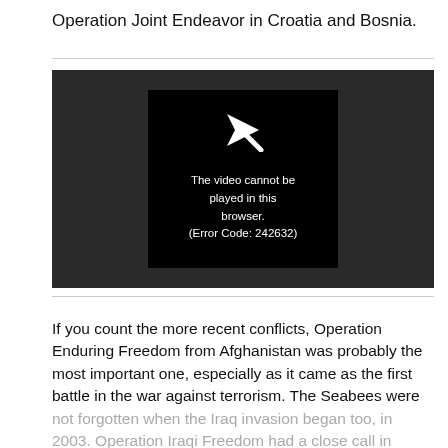Operation Joint Endeavor in Croatia and Bosnia.
[Figure (screenshot): Video player showing error message: 'The video cannot be played in this browser. (Error Code: 242632)' with a play icon on a black background inside a dark grey video player frame.]
If you count the more recent conflicts, Operation Enduring Freedom from Afghanistan was probably the most important one, especially as it came as the first battle in the war against terrorism. The Seabees were not forgotten when the Iraq invasion began too, in 2003. Operation Iraqi Freedom had a close call in Operation